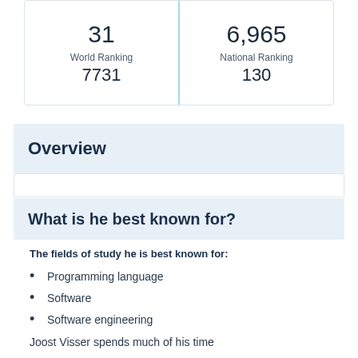|  |  |
| --- | --- |
| 31 | 6,965 |
| World Ranking
7731 | National Ranking
130 |
Overview
What is he best known for?
The fields of study he is best known for:
Programming language
Software
Software engineering
Joost Visser spends much of his time